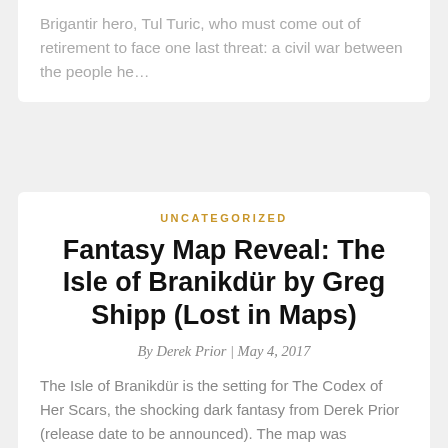Brigantir hero, Tul Turic, who must come out of retirement to face one last threat: a civil war between the people he...
UNCATEGORIZED
Fantasy Map Reveal: The Isle of Branikdür by Greg Shipp (Lost in Maps)
By Derek Prior | May 4, 2017
The Isle of Branikdür is the setting for The Codex of Her Scars, the shocking dark fantasy from Derek Prior (release date to be announced). The map was designed by Greg Shipp (https://www.lostinmaps.co.uk)   Share This: